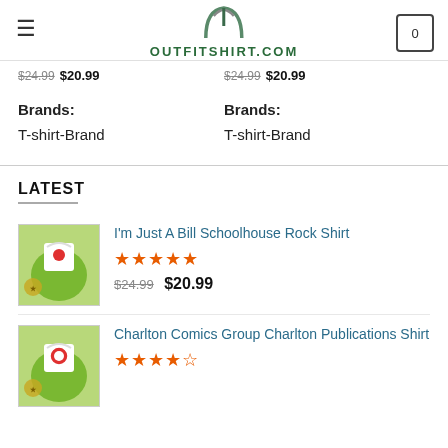OUTFITSHIRT.COM
$24.99 $20.99   $24.99 $20.99
Brands: T-shirt-Brand   Brands: T-shirt-Brand
LATEST
I'm Just A Bill Schoolhouse Rock Shirt — Rated 5 stars — $24.99 $20.99
Charlton Comics Group Charlton Publications Shirt